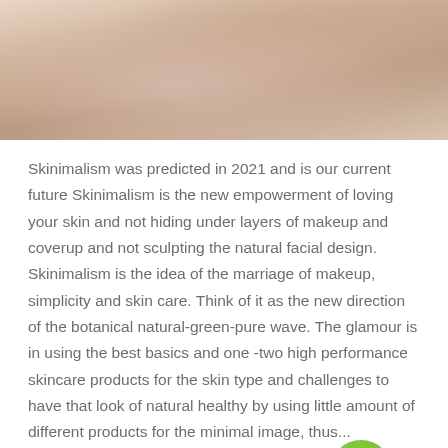[Figure (photo): Close-up photo of a person's hands near their face/neck area, skin tones in beige and light tan]
Skinimalism was predicted in 2021 and is our current future Skinimalism is the new empowerment of loving your skin and not hiding under layers of makeup and coverup and not sculpting the natural facial design. Skinimalism is the idea of the marriage of makeup, simplicity and skin care. Think of it as the new direction of the botanical natural-green-pure wave. The glamour is in using the best basics and one -two high performance skincare products for the skin type and challenges to have that look of natural healthy by using little amount of different products for the minimal image, thus...
Read more →